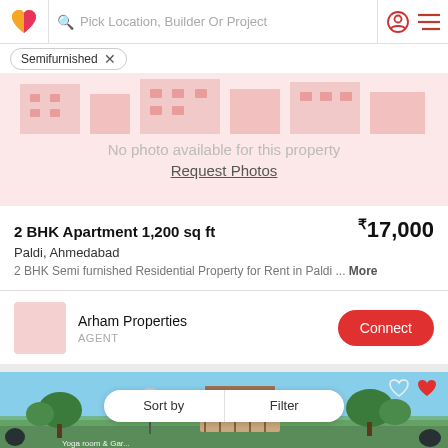Pick Location, Builder Or Project
Semifurnished
[Figure (photo): No photo available placeholder with building silhouette in pink/red tones. Text: No photo available for this property. Request Photos.]
2 BHK Apartment 1,200 sq ft
₹17,000
Paldi, Ahmedabad
2 BHK Semi furnished Residential Property for Rent in Paldi ... More
Arham Properties
AGENT
[Figure (photo): Outdoor property photo showing yoga room and garden area with trees and wooden structure under blue sky.]